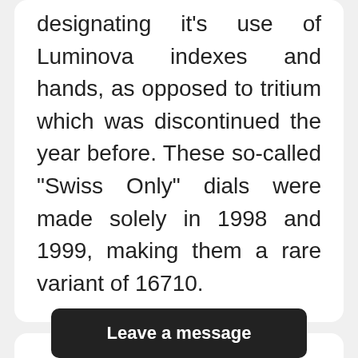designating it's use of Luminova indexes and hands, as opposed to tritium which was discontinued the year before. These so-called “Swiss Only” dials were made solely in 1998 and 1999, making them a rare variant of 16710.
Item Information
Bran
Leave a message